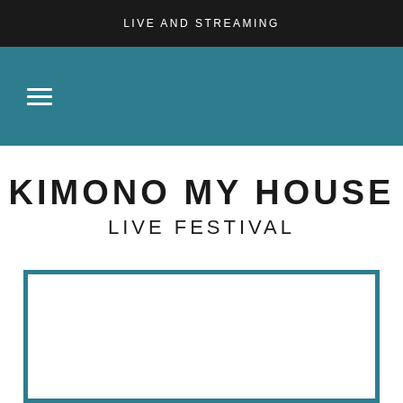LIVE AND STREAMING
[Figure (other): Navigation bar with hamburger menu icon on teal/dark cyan background]
KIMONO MY HOUSE
LIVE FESTIVAL
[Figure (other): Large rectangular bordered box with teal/dark cyan border and white interior, partially visible at bottom of page]